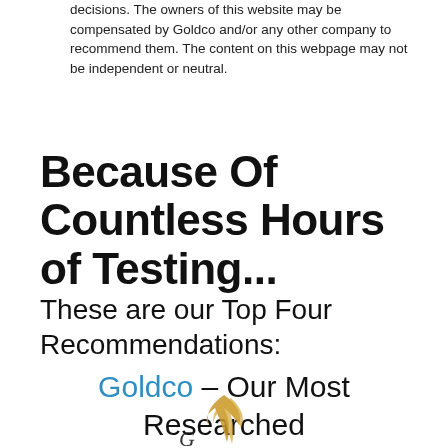decisions. The owners of this website may be compensated by Goldco and/or any other company to recommend them. The content on this webpage may not be independent or neutral.
Because Of Countless Hours of Testing...
These are our Top Four Recommendations:
Goldco – Our Most Researched Recommendation
[Figure (logo): Goldco logo with golden feather/flame graphic partially visible at bottom of page]